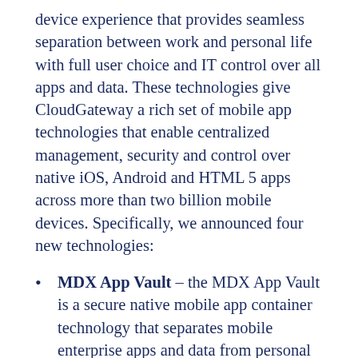device experience that provides seamless separation between work and personal life with full user choice and IT control over all apps and data. These technologies give CloudGateway a rich set of mobile app technologies that enable centralized management, security and control over native iOS, Android and HTML 5 apps across more than two billion mobile devices. Specifically, we announced four new technologies:
MDX App Vault – the MDX App Vault is a secure native mobile app container technology that separates mobile enterprise apps and data from personal apps and data on any mobile device. This allows IT to remotely manage,